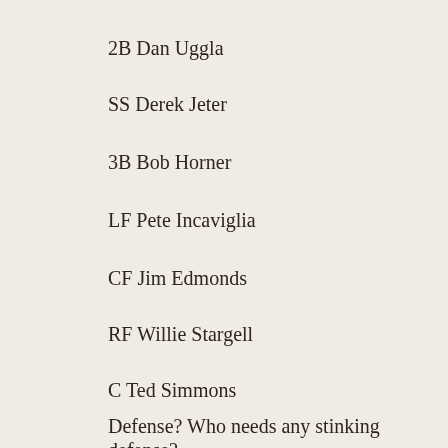2B Dan Uggla
SS Derek Jeter
3B Bob Horner
LF Pete Incaviglia
CF Jim Edmonds
RF Willie Stargell
C Ted Simmons
Defense? Who needs any stinking defense?